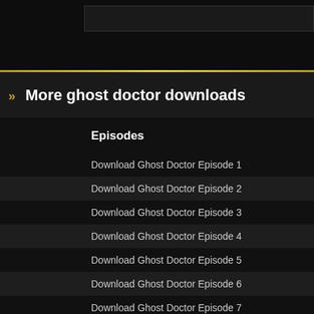» More ghost doctor downloads
Episodes
Download Ghost Doctor Episode 1
Download Ghost Doctor Episode 2
Download Ghost Doctor Episode 3
Download Ghost Doctor Episode 4
Download Ghost Doctor Episode 5
Download Ghost Doctor Episode 6
Download Ghost Doctor Episode 7
Download Ghost Doctor Episode 8
Download Ghost Doctor Episode 9
Download Ghost Doctor Episode 10
Download Ghost Doctor Episode 11
Download Ghost Doctor Episode 12